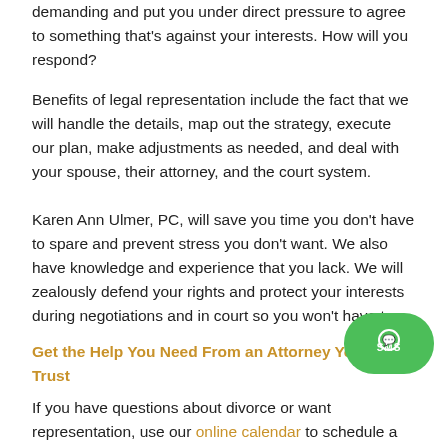demanding and put you under direct pressure to agree to something that's against your interests. How will you respond?
Benefits of legal representation include the fact that we will handle the details, map out the strategy, execute our plan, make adjustments as needed, and deal with your spouse, their attorney, and the court system.
Karen Ann Ulmer, PC, will save you time you don't have to spare and prevent stress you don't want. We also have knowledge and experience that you lack. We will zealously defend your rights and protect your interests during negotiations and in court so you won't have to.
Get the Help You Need From an Attorney You Can Trust
If you have questions about divorce or want representation, use our online calendar to schedule a free consultation or call us at (215) 515-5172.